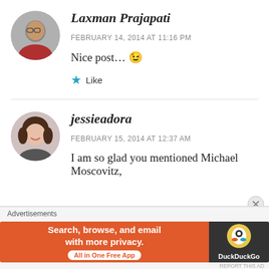Laxman Prajapati
FEBRUARY 14, 2014 AT 11:16 PM
Nice post... 😉
Like
jessieadora
FEBRUARY 15, 2014 AT 12:37 AM
I am so glad you mentioned Michael Moscovitz,
Advertisements
Search, browse, and email with more privacy. All in One Free App
DuckDuckGo